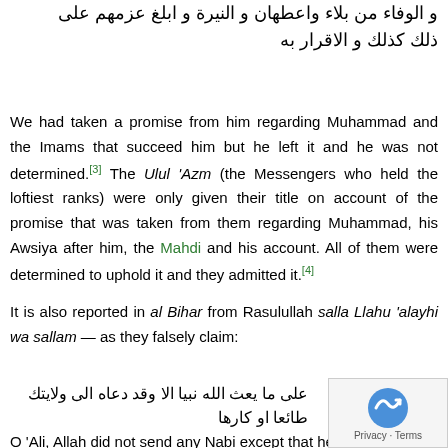و الوفاء من بلاء واعطهان و النيرة و ابلغ عزمهم على ذلك كذلك و الاقرار به
We had taken a promise from him regarding Muhammad and the Imams that succeed him but he left it and he was not determined.[3] The Ulul 'Azm (the Messengers who held the loftiest ranks) were only given their title on account of the promise that was taken from them regarding Muhammad, his Awsiya after him, the Mahdi and his account. All of them were determined to uphold it and they admitted it.[4]
It is also reported in al Bihar from Rasulullah salla Llahu 'alayhi wa sallam — as they falsely claim:
على ما يعث الله نبيا الا وقد دعاه الى ولايتك طائعا او كارها
O 'Ali, Allah did not send any Nabi except that he made